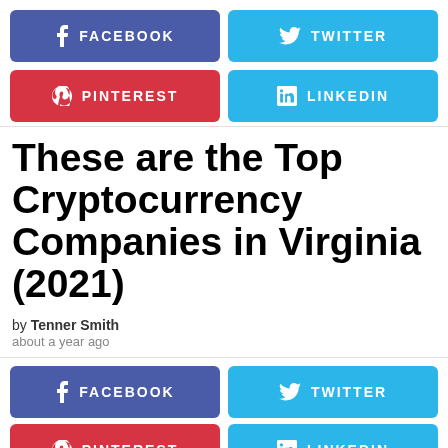[Figure (infographic): Social share buttons row 1 top: Facebook (blue-purple), Twitter (light blue)]
[Figure (infographic): Social share buttons row 2 top: Pinterest (red), LinkedIn (light blue)]
These are the Top Cryptocurrency Companies in Virginia (2021)
by Tenner Smith
about a year ago
[Figure (infographic): Social share buttons row 1 bottom: Facebook (blue-purple), Twitter (light blue)]
[Figure (infographic): Social share buttons row 2 bottom: Pinterest (red), LinkedIn (light blue) — partially cut off]